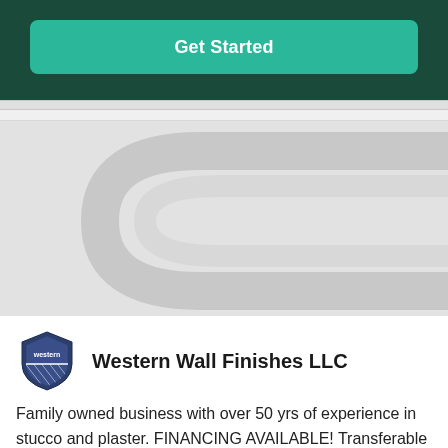[Figure (screenshot): Green 'Get Started' button on dark green background]
[Figure (illustration): Light gray background with decorative curved road/path graphic in slightly darker gray]
[Figure (logo): Western Wall Finishes LLC shield logo]
Western Wall Finishes LLC
Family owned business with over 50 yrs of experience in stucco and plaster. FINANCING AVAILABLE! Transferable long...
Read more →